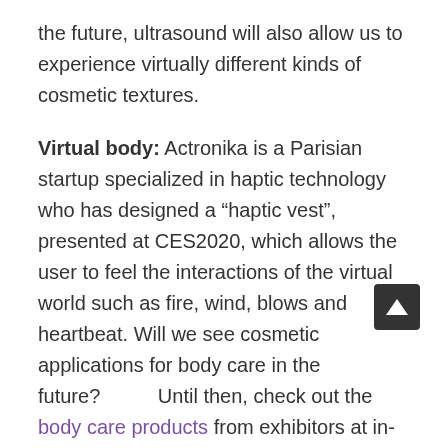the future, ultrasound will also allow us to experience virtually different kinds of cosmetic textures.
Virtual body: Actronika is a Parisian startup specialized in haptic technology who has designed a “haptic vest”, presented at CES2020, which allows the user to feel the interactions of the virtual world such as fire, wind, blows and heartbeat. Will we see cosmetic applications for body care in the future? Until then, check out the body care products from exhibitors at in-cosmetics Latin America.